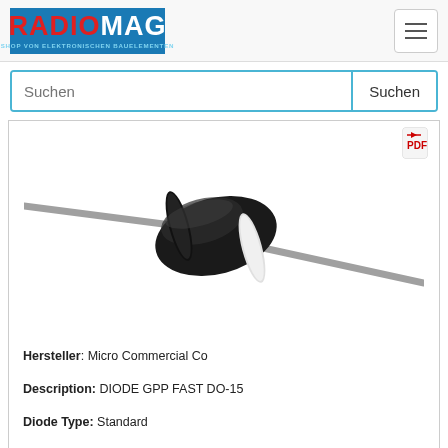[Figure (logo): RADIOMAG logo — blue background, red RADIO white MAG text, subtitle SHOP VON ELEKTRONISCHEN BAUELEMENTEN]
Suchen
[Figure (photo): 3D render of a DO-15 axial diode with gray leads and black cylindrical body with white stripe]
Hersteller: Micro Commercial Co
Description: DIODE GPP FAST DO-15
Diode Type: Standard
Packaging: Tape & Box (TB)
Mounting Type: Through Hole
Package / Case: DO-204AC, DO-15, Axial
Voltage - DC Reverse (Vr) (Max): 1000 V
Part Status: Obsolete
Operating Temperature - Junction: -55°C ~